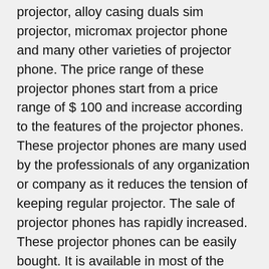projector, alloy casing duals sim projector, micromax projector phone and many other varieties of projector phone. The price range of these projector phones start from a price range of $ 100 and increase according to the features of the projector phones. These projector phones are many used by the professionals of any organization or company as it reduces the tension of keeping regular projector. The sale of projector phones has rapidly increased. These projector phones can be easily bought. It is available in most of the telecom shops as well as the demo of this projector phones are easily available on the internet. Important information regarding a projector phone is available on the internet. Before buying a projector one should check out its all features to ensure that the product is according to their need or not.